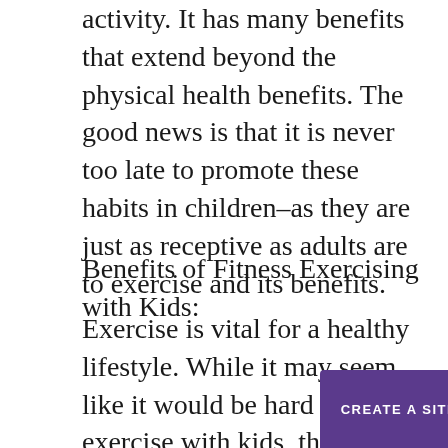activity. It has many benefits that extend beyond the physical health benefits. The good news is that it is never too late to promote these habits in children–as they are just as receptive as adults are to exercise and its benefits.
Benefits of Fitness Exercising with Kids:
Exercise is vital for a healthy lifestyle. While it may seem like it would be hard to exercise with kids, there are many benefits of including them in your wor...
CREATE A SITE WITH strikingly